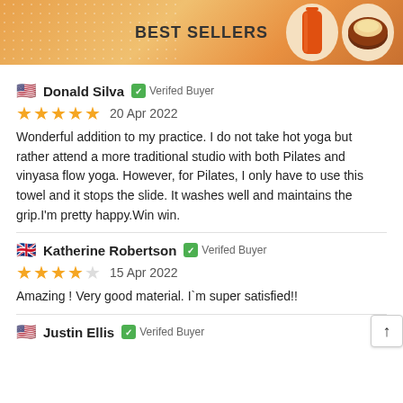BEST SELLERS
🇺🇸 Donald Silva ✓ Verifed Buyer
★★★★★  20 Apr 2022
Wonderful addition to my practice. I do not take hot yoga but rather attend a more traditional studio with both Pilates and vinyasa flow yoga. However, for Pilates, I only have to use this towel and it stops the slide. It washes well and maintains the grip.I'm pretty happy.Win win.
🇬🇧 Katherine Robertson ✓ Verifed Buyer
★★★★☆  15 Apr 2022
Amazing ! Very good material. I`m super satisfied!!
🇺🇸 Justin Ellis ✓ Verifed Buyer